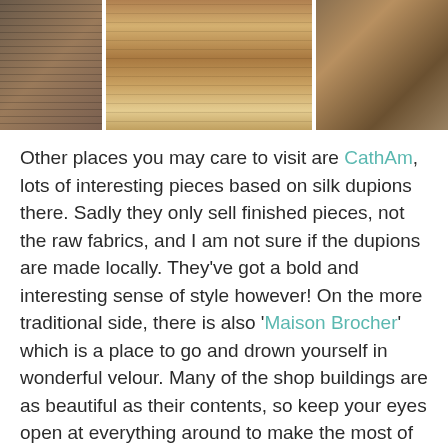[Figure (photo): Three side-by-side photos showing a fabric or textile shop interior with shelves, drawers, and rolls of fabric]
Other places you may care to visit are CathAm, lots of interesting pieces based on silk dupions there. Sadly they only sell finished pieces, not the raw fabrics, and I am not sure if the dupions are made locally. They've got a bold and interesting sense of style however! On the more traditional side, there is also 'Maison Brocher' which is a place to go and drown yourself in wonderful velour. Many of the shop buildings are as beautiful as their contents, so keep your eyes open at everything around to make the most of the building.
[Figure (photo): Two partial photos at the bottom of the page showing shop interiors]